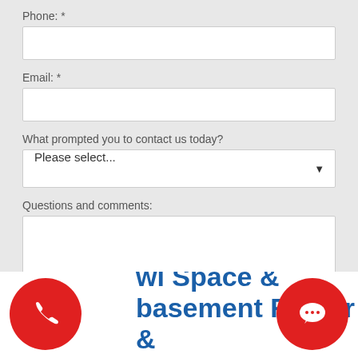Phone: *
Email: *
What prompted you to contact us today?
Please select...
Questions and comments:
Get your Free Estimate
wl Space & basement Repair &